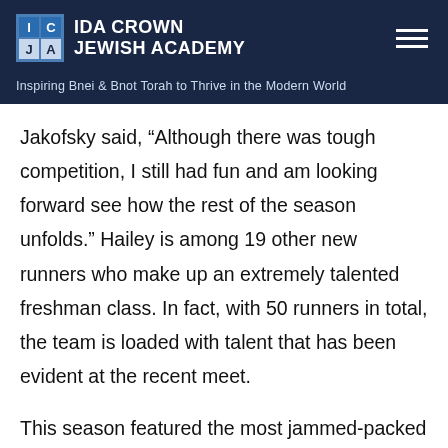IDA CROWN JEWISH ACADEMY
Inspiring Bnei & Bnot Torah to Thrive in the Modern World
Jakofsky said, “Although there was tough competition, I still had fun and am looking forward see how the rest of the season unfolds.” Hailey is among 19 other new runners who make up an extremely talented freshman class. In fact, with 50 runners in total, the team is loaded with talent that has been evident at the recent meet.
This season featured the most jammed-packed schedules in Running Aces history, with four more races in just three weeks along with consistent